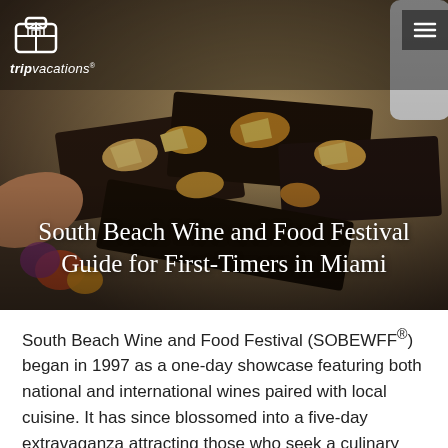[Figure (photo): Hero food photo showing gourmet appetizers and snacks on dark serving boards at the South Beach Wine and Food Festival, with a hand reaching in from the left. Photo has warm tones with food closeup.]
tripvacations
South Beach Wine and Food Festival Guide for First-Timers in Miami
South Beach Wine and Food Festival (SOBEWFF®) began in 1997 as a one-day showcase featuring both national and international wines paired with local cuisine. It has since blossomed into a five-day extravaganza attracting those who seek a culinary adventure from all over the world and a star-